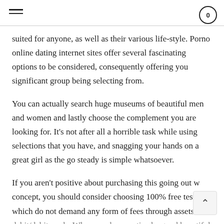suited for anyone, as well as their various life-style. Porno online dating internet sites offer several fascinating options to be considered, consequently offering you significant group being selecting from.
You can actually search huge museums of beautiful men and women and lastly choose the complement you are looking for. It’s not after all a horrible task while using selections that you have, and snagging your hands on a great girl as the go steady is simple whatsoever.
If you aren’t positive about purchasing this going out with concept, you should consider choosing 100% free tests which do not demand any form of fees through assets or debit/debit cards. When you have noticed a good beautiful...